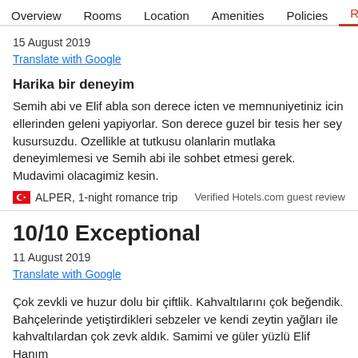Overview  Rooms  Location  Amenities  Policies  Reviews
15 August 2019
Translate with Google
Harika bir deneyim
Semih abi ve Elif abla son derece icten ve memnuniyetiniz icin ellerinden geleni yapiyorlar. Son derece guzel bir tesis her sey kusursuzdu. Ozellikle at tutkusu olanlarin mutlaka deneyimlemesi ve Semih abi ile sohbet etmesi gerek. Mudavimi olacagimiz kesin.
ALPER, 1-night romance trip
Verified Hotels.com guest review
10/10 Exceptional
11 August 2019
Translate with Google
Çok zevkli ve huzur dolu bir çiftlik. Kahvaltılarını çok beğendik. Bahçelerinde yetiştirdikleri sebzeler ve kendi zeytin yağları ile kahvaltılardan çok zevk aldık. Samimi ve güler yüzlü Elif Hanım